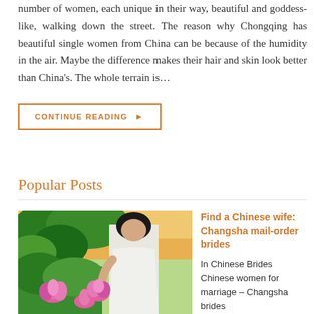number of women, each unique in their way, beautiful and goddess-like, walking down the street. The reason why Chongqing has beautiful single women from China can be because of the humidity in the air. Maybe the difference makes their hair and skin look better than China's. The whole terrain is…
CONTINUE READING ▶
Popular Posts
[Figure (photo): A woman in a white dress holding pink flowers, with green foliage and lotus flowers in the background.]
Find a Chinese wife: Changsha mail-order brides
In Chinese Brides
Chinese women for marriage – Changsha brides
Getting [...]